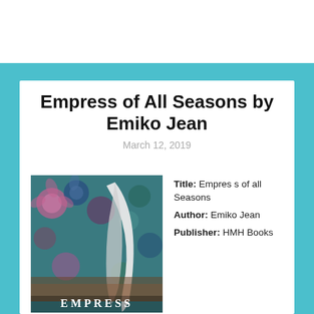Empress of All Seasons by Emiko Jean
March 12, 2019
[Figure (illustration): Book cover of Empress of All Seasons showing a curved blade/scimitar against a background of colorful floral patterns in teal, blue, and pink tones. The word EMPRESS appears at the bottom in large white letters.]
We use cookies to ensure that we give you the best experience on our website. If you continue to use this site we will assume that you are happy with it.
Title: Empress of all Seasons
Author: Emiko Jean
Publisher: HMH Books